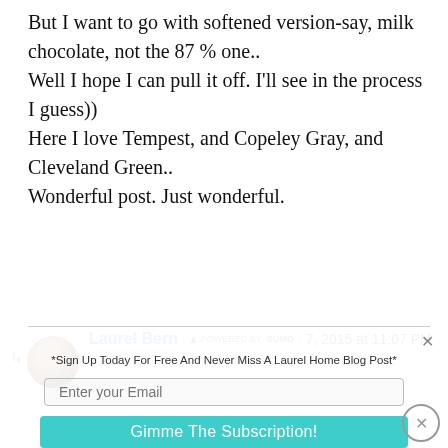But I want to go with softened version-say, milk chocolate, not the 87 % one..
Well I hope I can pull it off. I'll see in the process I guess))
Here I love Tempest, and Copeley Gray, and Cleveland Green..
Wonderful post. Just wonderful.
Laurel Bern · 7, 2015 at 11:07 PM
[Figure (screenshot): SumoMe email signup overlay with 'Enter your Email' input and 'Gimme The Subscription!' button in teal]